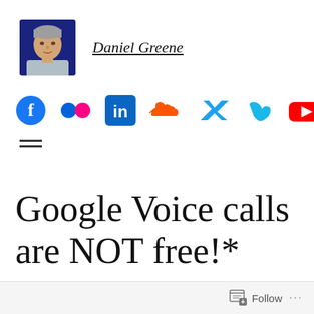[Figure (photo): Profile photo of Daniel Greene, a man with gray hair against a dark blue background]
Daniel Greene
[Figure (infographic): Social media icons row: Facebook, Flickr, LinkedIn, SoundCloud, Twitter, Vimeo, YouTube]
[Figure (other): Hamburger menu icon (two horizontal lines)]
Google Voice calls are NOT free!*
Follow ...